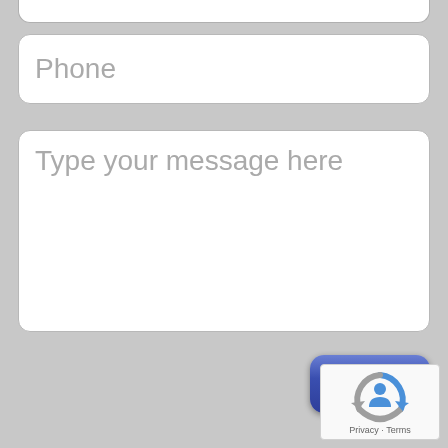Phone
Type your message here
Send
[Figure (logo): Google reCAPTCHA badge with recycling-arrow icon and 'Privacy - Terms' text]